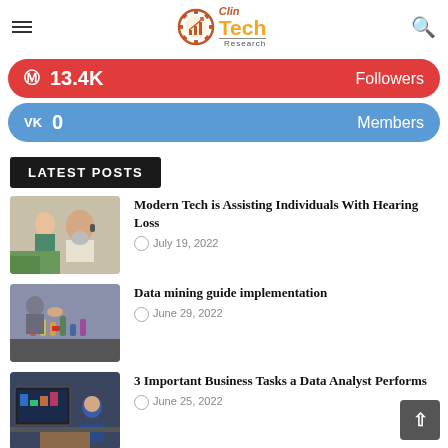ClinTech Research
13.4K Followers
0 Members
LATEST POSTS
Modern Tech is Assisting Individuals With Hearing Loss — July 19, 2022
Data mining guide implementation — June 29, 2022
3 Important Business Tasks a Data Analyst Performs — June 25, 2022